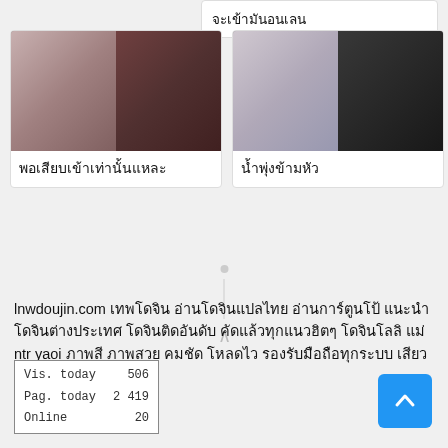จะเข้ามันอนเลน
[Figure (photo): Two thumbnail images of people, left card]
พอเสียบเข้าเท่านั้นแหละ
[Figure (photo): Two thumbnail images of people, right card]
น้ำพุ่งข้ามหัว
lnwdoujin.com เทพโดจิน อ่านโดจินแปลไทย อ่านการ์ตูนโป้ แนะนำโดจินต่างประเทศ โดจินติดอันดับ คัดแล้วทุกแนวฮิตๆ โดจินโลลิ แม่ ntr yaoi ภาพสี ภาพสวย คมชัด โหลดไว รองรับมือถือทุกระบบ เสียวน้ำแฉะได้ที่นี่
| Vis. today | 506 |
| Pag. today | 2 419 |
| Online | 20 |